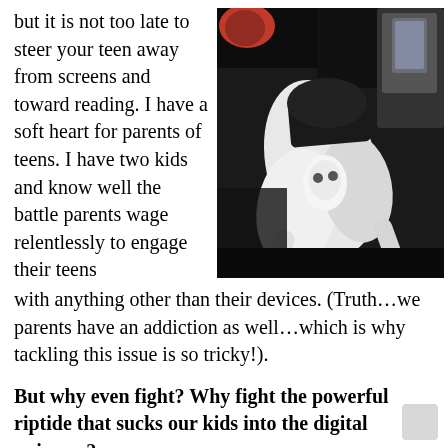but it is not too late to steer your teen away from screens and toward reading. I have a soft heart for parents of teens. I have two kids and know well the battle parents wage relentlessly to engage their teens with anything other than their devices. (Truth…we parents have an addiction as well…which is why tackling this issue is so tricky!).
[Figure (illustration): Painting or artwork depicting figures in black and white, with one figure with red hair, appearing to be in a dynamic scene with dark background.]
But why even fight? Why fight the powerful riptide that sucks our kids into the digital universe?
I interviewed reading specialist, Dr. Marnie Ginsberg,